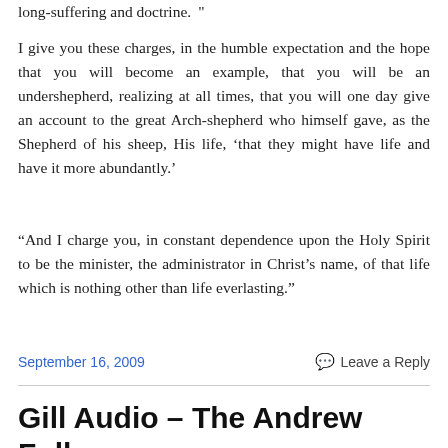long-suffering and doctrine. ”
I give you these charges, in the humble expectation and the hope that you will become an example, that you will be an undershepherd, realizing at all times, that you will one day give an account to the great Arch-shepherd who himself gave, as the Shepherd of his sheep, His life, ‘that they might have life and have it more abundantly.’
“And I charge you, in constant dependence upon the Holy Spirit to be the minister, the administrator in Christ’s name, of that life which is nothing other than life everlasting.”
September 16, 2009
Leave a Reply
Gill Audio – The Andrew Fuller